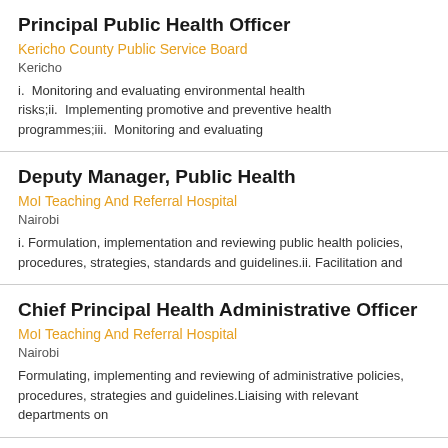Principal Public Health Officer
Kericho County Public Service Board
Kericho
i.	Monitoring and evaluating environmental health risks;ii.	Implementing promotive and preventive health programmes;iii.	Monitoring and evaluating
Deputy Manager, Public Health
MoI Teaching And Referral Hospital
Nairobi
i. Formulation, implementation and reviewing public health policies, procedures, strategies, standards and guidelines.ii. Facilitation and
Chief Principal Health Administrative Officer
MoI Teaching And Referral Hospital
Nairobi
Formulating, implementing and reviewing of administrative policies, procedures, strategies and guidelines.Liaising with relevant departments on
Registered Nurse (Mental Health)
Oasis Healthcare Group
Nairobi